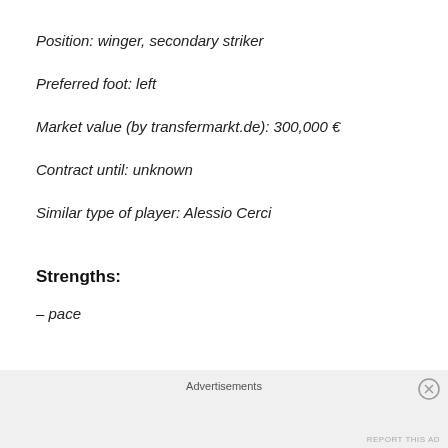Position: winger, secondary striker
Preferred foot: left
Market value (by transfermarkt.de): 300,000 €
Contract until: unknown
Similar type of player: Alessio Cerci
Strengths:
– pace
Advertisements